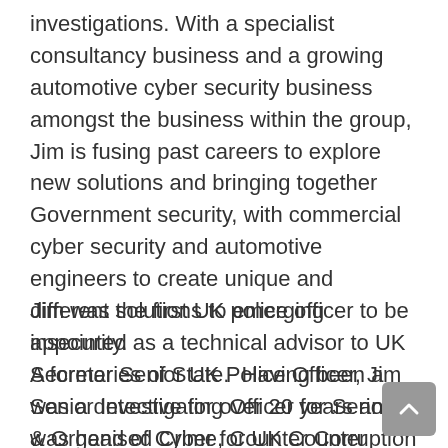investigations. With a specialist consultancy business and a growing automotive cyber security business amongst the business within the group, Jim is fusing past careers to explore new solutions and bringing together Government security, with commercial cyber security and automotive engineers to create unique and different solutions to emerging insecurity. A former Senior UK Police Officer, Jim was a detective for over 20 years and was head of Cyber for UK Counter Terrorism Policing and Programme Director for a National Digital Exploitation Service.
Jim was the first UK police officer to be appointed as a technical advisor to UK Secretaries of State. Having been a Senior Investigating Officer for Serious & Organised Crime, Counter Corruption and Counter Terrorism Investigations, Jim has been involved with some of the UK's most high profile investigations and